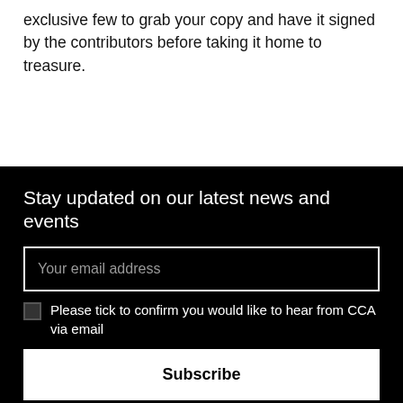exclusive few to grab your copy and have it signed by the contributors before taking it home to treasure.
Stay updated on our latest news and events
Your email address
Please tick to confirm you would like to hear from CCA via email
Subscribe
Centre for Contemporary Arts
350 Sauchiehall Street
Glasgow G2 3JD